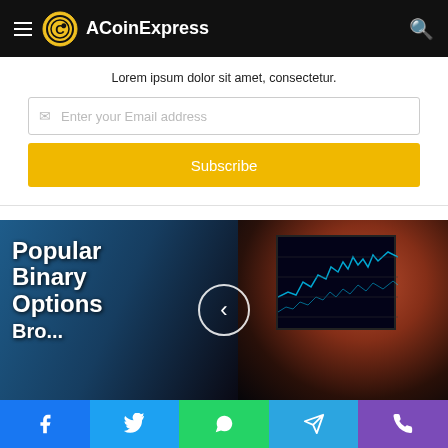ACoinExpress
Lorem ipsum dolor sit amet, consectetur.
Enter your Email address
Subscribe
[Figure (photo): Banner image showing a person looking at a trading monitor with stock charts. Text overlay reads 'Popular Binary Options Bro...' with a left navigation arrow circle button.]
Social share bar: Facebook, Twitter, WhatsApp, Telegram, Phone